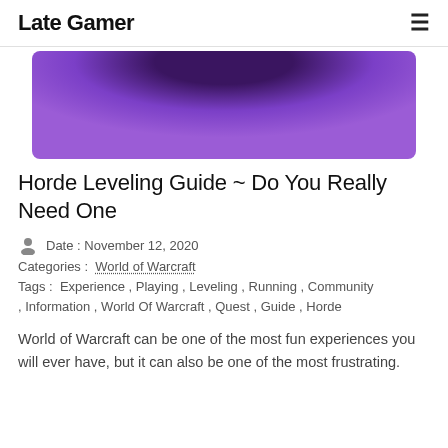Late Gamer
[Figure (illustration): Purple gradient hero banner image with dark purple tones, partially cropped at top]
Horde Leveling Guide ~ Do You Really Need One
Date : November 12, 2020
Categories :  World of Warcraft
Tags :  Experience , Playing , Leveling , Running , Community , Information , World Of Warcraft , Quest , Guide , Horde
World of Warcraft can be one of the most fun experiences you will ever have, but it can also be one of the most frustrating.